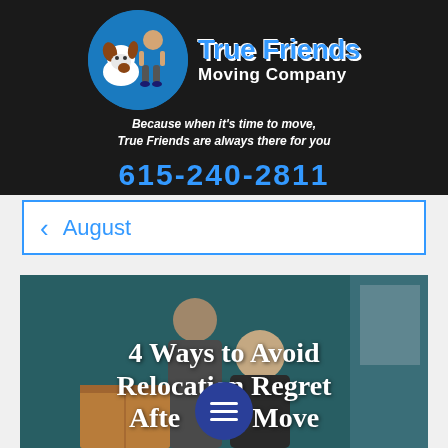[Figure (logo): True Friends Moving Company logo: blue circle with cartoon dog and man character, company name in blue bold text, tagline in white italic text, phone number 615-240-2811 in blue on dark background]
True Friends Moving Company
Because when it's time to move, True Friends are always there for you
615-240-2811
August
[Figure (photo): Hero image of two people (couple) in a room with moving boxes, overlaid with large white bold serif text reading: 4 Ways to Avoid Relocation Regret After a Move, with a blue circular hamburger menu button overlay]